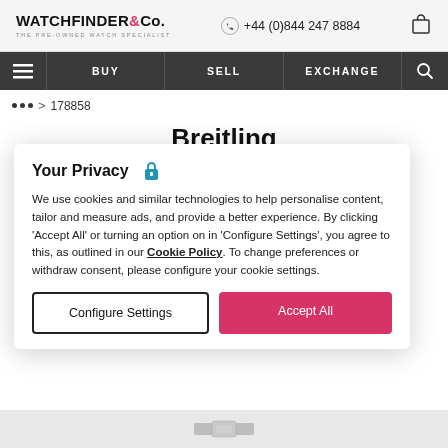WATCHFINDER & Co. THE PRE-OWNED WATCH SPECIALIST | +44 (0)844 247 8884
BUY | SELL | EXCHANGE
... > 178858
Breitling
Superocean 44 Special
Y17393
Your Privacy
We use cookies and similar technologies to help personalise content, tailor and measure ads, and provide a better experience. By clicking 'Accept All' or turning an option on in 'Configure Settings', you agree to this, as outlined in our Cookie Policy. To change preferences or withdraw consent, please configure your cookie settings.
Configure Settings
Accept All